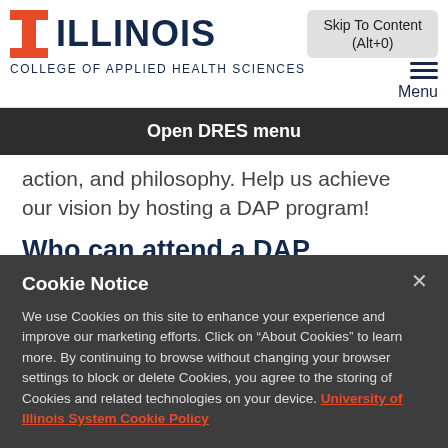[Figure (logo): University of Illinois block I logo in orange with ILLINOIS text and College of Applied Health Sciences subtitle]
Skip To Content (Alt+0)
Menu
Open DRES menu
action, and philosophy. Help us achieve our vision by hosting a DAP program!
Who can attend a DAP
Cookie Notice
We use Cookies on this site to enhance your experience and improve our marketing efforts. Click on “About Cookies” to learn more. By continuing to browse without changing your browser settings to block or delete Cookies, you agree to the storing of Cookies and related technologies on your device. University of Illinois System Cookie Policy